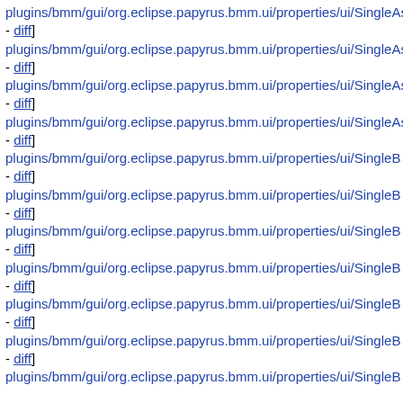plugins/bmm/gui/org.eclipse.papyrus.bmm.ui/properties/ui/SingleAs - diff]
plugins/bmm/gui/org.eclipse.papyrus.bmm.ui/properties/ui/SingleAs - diff]
plugins/bmm/gui/org.eclipse.papyrus.bmm.ui/properties/ui/SingleAs - diff]
plugins/bmm/gui/org.eclipse.papyrus.bmm.ui/properties/ui/SingleAs - diff]
plugins/bmm/gui/org.eclipse.papyrus.bmm.ui/properties/ui/SingleB - diff]
plugins/bmm/gui/org.eclipse.papyrus.bmm.ui/properties/ui/SingleB - diff]
plugins/bmm/gui/org.eclipse.papyrus.bmm.ui/properties/ui/SingleB - diff]
plugins/bmm/gui/org.eclipse.papyrus.bmm.ui/properties/ui/SingleB - diff]
plugins/bmm/gui/org.eclipse.papyrus.bmm.ui/properties/ui/SingleB - diff]
plugins/bmm/gui/org.eclipse.papyrus.bmm.ui/properties/ui/SingleB - diff]
plugins/bmm/gui/org.eclipse.papyrus.bmm.ui/properties/ui/SingleB